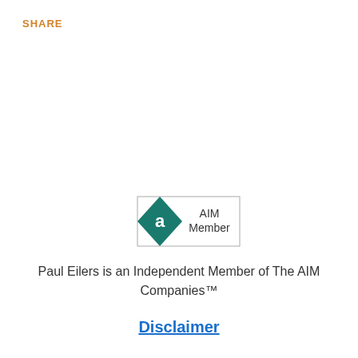SHARE
[Figure (logo): AIM Member logo — a teal diamond shape with a stylized 'a' letter inside, next to text reading 'AIM Member' in a rectangular border]
Paul Eilers is an Independent Member of The AIM Companies™
Disclaimer